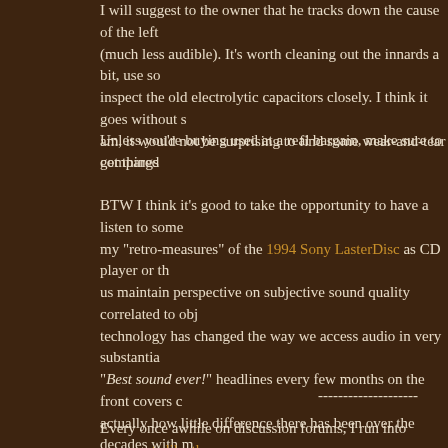I will suggest to the owner that he tracks down the cause of the left (much less audible). It's worth cleaning out the innards a bit, use so inspect the old electrolytic capacitors closely. I think it goes without s am, it would not be surprising to find some wear-and-tear compared
Unless you're buying used at a real bargain, make sure to get things
BTW I think it's good to take the opportunity to have a listen to some my "retro-measures" of the 1994 Sony LasterDisc as CD player or th us maintain perspective on subjective sound quality correlated to obj technology has changed the way we access audio in very substantia "Best sound ever!" headlines every few months on the front covers c actually how little difference there has been over the decades with m amplifiers at normal listening levels.
--------------------
Every once awhile on discussion forums, I run into comments like th used to suggest that measurements / specifications are somehow of
"It is about much more than distortion. The lowest-distortion many amplifiers with vanishing levels of distortion, which